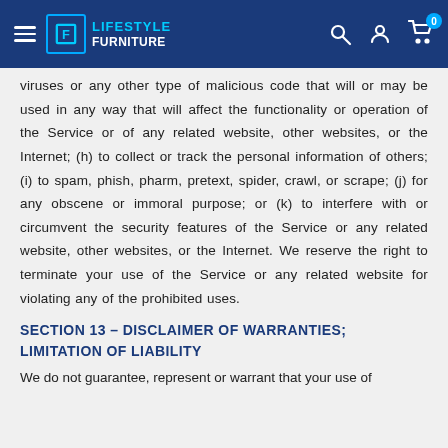Lifestyle Furniture – Navigation header
viruses or any other type of malicious code that will or may be used in any way that will affect the functionality or operation of the Service or of any related website, other websites, or the Internet; (h) to collect or track the personal information of others; (i) to spam, phish, pharm, pretext, spider, crawl, or scrape; (j) for any obscene or immoral purpose; or (k) to interfere with or circumvent the security features of the Service or any related website, other websites, or the Internet. We reserve the right to terminate your use of the Service or any related website for violating any of the prohibited uses.
SECTION 13 – DISCLAIMER OF WARRANTIES; LIMITATION OF LIABILITY
We do not guarantee, represent or warrant that your use of